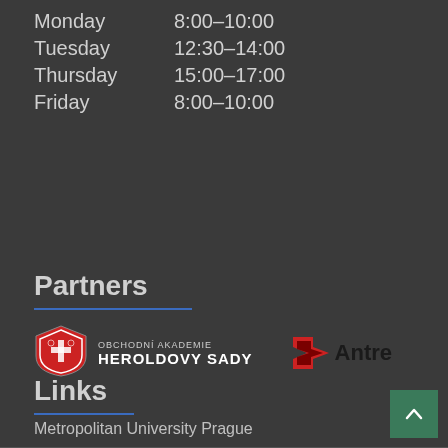Monday    8:00–10:00
Tuesday   12:30–14:00
Thursday  15:00–17:00
Friday    8:00–10:00
Partners
[Figure (logo): Obchodní akademie Heroldovy Sady logo — red shield with crest and white text reading OBCHODNÍ AKADEMIE HEROLDOVY SADY]
[Figure (logo): Antre logo — red/dark angular arrow icon with text Antre]
Links
Metropolitan University Prague